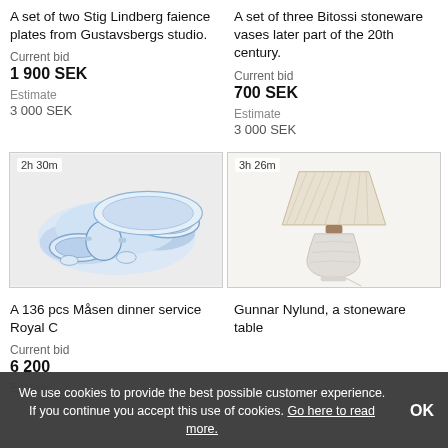A set of two Stig Lindberg faience plates from Gustavsbergs studio.
Current bid
1 900 SEK
Estimate
3 000 SEK
A set of three Bitossi stoneware vases later part of the 20th century.
Current bid
700 SEK
Estimate
3 000 SEK
[Figure (photo): Blue and white porcelain dinner service set (136 pcs Måsen), Royal Copenhagen, with timer showing 2h 30m]
[Figure (photo): Gunnar Nylund stoneware table lamp with pleated cream shade, timer showing 3h 26m]
A 136 pcs Måsen dinner service Royal C...
Gunnar Nylund, a stoneware table
Current bid
6 200...
Estima...
We use cookies to provide the best possible customer experience. If you continue you accept this use of cookies. Go here to read more.